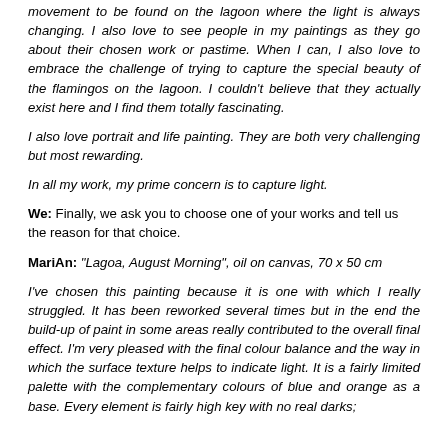movement to be found on the lagoon where the light is always changing. I also love to see people in my paintings as they go about their chosen work or pastime. When I can, I also love to embrace the challenge of trying to capture the special beauty of the flamingos on the lagoon. I couldn't believe that they actually exist here and I find them totally fascinating.
I also love portrait and life painting. They are both very challenging but most rewarding.
In all my work, my prime concern is to capture light.
We: Finally, we ask you to choose one of your works and tell us the reason for that choice.
MariAn: "Lagoa, August Morning", oil on canvas, 70 x 50 cm
I've chosen this painting because it is one with which I really struggled. It has been reworked several times but in the end the build-up of paint in some areas really contributed to the overall final effect. I'm very pleased with the final colour balance and the way in which the surface texture helps to indicate light. It is a fairly limited palette with the complementary colours of blue and orange as a base. Every element is fairly high key with no real darks;